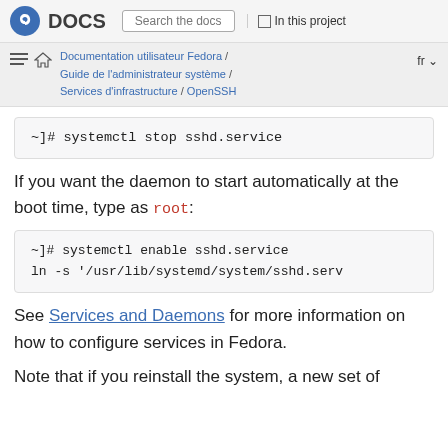DOCS  Search the docs  In this project
Documentation utilisateur Fedora / Guide de l'administrateur système / Services d'infrastructure / OpenSSH  fr
~]# systemctl stop sshd.service
If you want the daemon to start automatically at the boot time, type as root:
~]# systemctl enable sshd.service
ln -s '/usr/lib/systemd/system/sshd.serv
See Services and Daemons for more information on how to configure services in Fedora.
Note that if you reinstall the system, a new set of